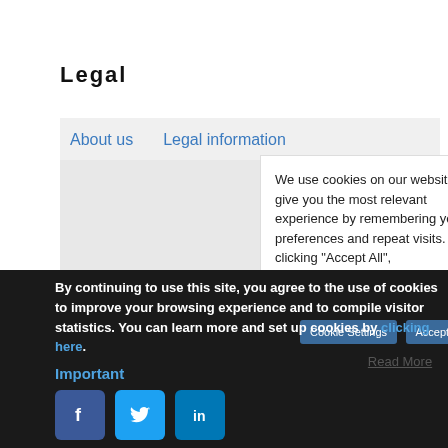Legal
About us   Legal information
We use cookies on our website to give you the most relevant experience by remembering your preferences and repeat visits. By clicking "Accept All",
By continuing to use this site, you agree to the use of cookies to improve your browsing experience and to compile visitor statistics. You can learn more and set up cookies by clicking here.
Important
[Figure (illustration): Social media icons: Facebook, Twitter, LinkedIn in blue rounded square buttons]